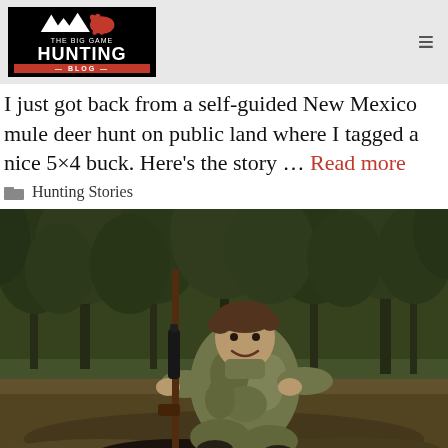The Big Game Hunting Blog
I just got back from a self-guided New Mexico mule deer hunt on public land where I tagged a nice 5×4 buck. Here's the story … Read more
Hunting Stories
[Figure (photo): A hunter wearing camouflage kneeling outdoors in a wooded area, holding a rifle with a scope, smiling at the camera. A deer is partially visible in the foreground.]